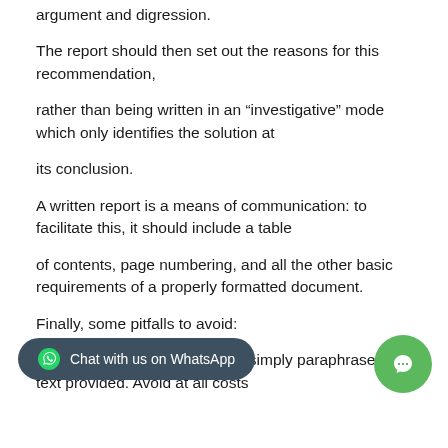argument and digression.
The report should then set out the reasons for this recommendation,
rather than being written in an “investigative” mode which only identifies the solution at
its conclusion.
A written report is a means of communication: to facilitate this, it should include a table
of contents, page numbering, and all the other basic requirements of a properly formatted document.
Finally, some pitfalls to avoid:
A case study report should not simply paraphrase the text provided. Avoid at all costs
retelling the case word-for-word, or copying figures, tables or graphs already included in